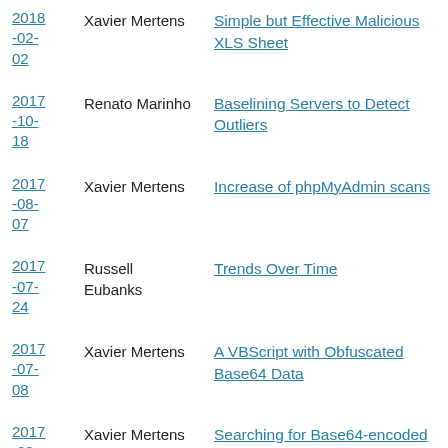2018-02-02 | Xavier Mertens | Simple but Effective Malicious XLS Sheet
2017-10-18 | Renato Marinho | Baselining Servers to Detect Outliers
2017-08-07 | Xavier Mertens | Increase of phpMyAdmin scans
2017-07-24 | Russell Eubanks | Trends Over Time
2017-07-08 | Xavier Mertens | A VBScript with Obfuscated Base64 Data
2017-03- | Xavier Mertens | Searching for Base64-encoded PE